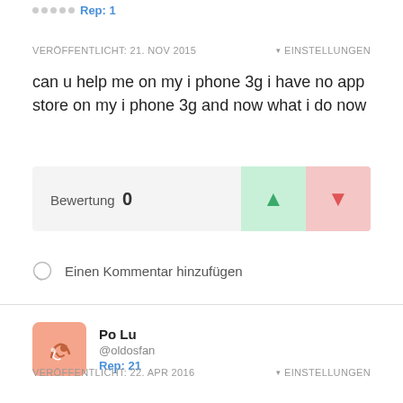Rep: 1
VERÖFFENTLICHT: 21. NOV 2015    ▾ EINSTELLUNGEN
can u help me on my i phone 3g i have no app store on my i phone 3g and now what i do now
Bewertung 0
Einen Kommentar hinzufügen
Po Lu
@oldosfan
Rep: 21
VERÖFFENTLICHT: 22. APR 2016    ▾ EINSTELLUNGEN